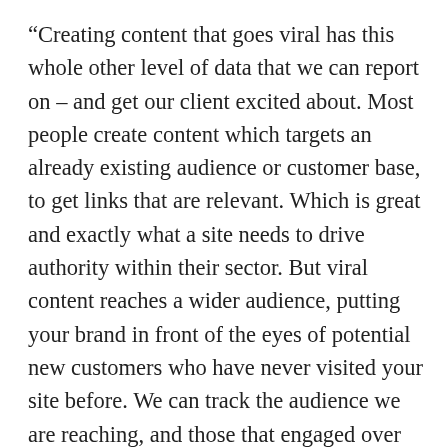“Creating content that goes viral has this whole other level of data that we can report on – and get our client excited about. Most people create content which targets an already existing audience or customer base, to get links that are relevant. Which is great and exactly what a site needs to drive authority within their sector. But viral content reaches a wider audience, putting your brand in front of the eyes of potential new customers who have never visited your site before. We can track the audience we are reaching, and those that engaged over and over can be retargeted with ads or content that’s useful to them. Something which traditional PR cannot do. If done well, going viral can drive organic visits to the website/content on-site in the thousands. Something which paid marketers